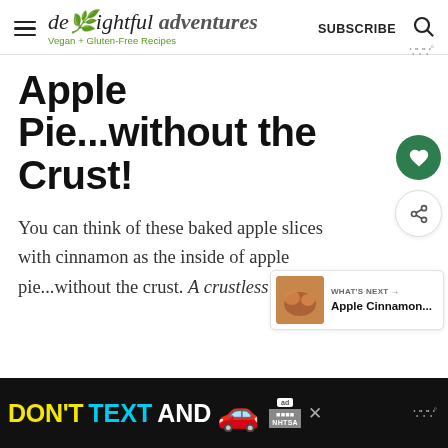delightful adventures — Vegan + Gluten-Free Recipes | SUBSCRIBE
Apple Pie...without the Crust!
You can think of these baked apple slices with cinnamon as the inside of apple pie...without the crust. A crustless apple pie.
[Figure (other): NHTSA advertisement banner: DON'T TEXT AND [car emoji] ad with yellow, cyan and white text on dark background]
WHAT'S NEXT → Apple Cinnamon...